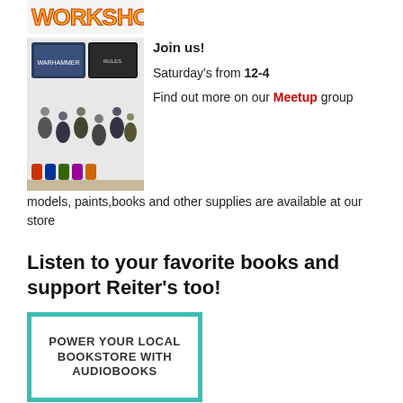[Figure (logo): Games Workshop logo with yellow and orange stylized text]
[Figure (photo): Warhammer miniatures, game boxes, and painted model figures displayed together]
Join us!
Saturday's from 12-4
Find out more on our Meetup group
models, paints,books and other supplies are available at our store
Listen to your favorite books and support Reiter's too!
[Figure (infographic): Teal-bordered box with text: POWER YOUR LOCAL BOOKSTORE WITH AUDIOBOOKS]